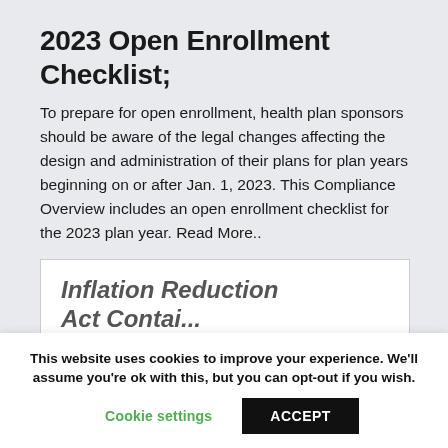2023 Open Enrollment Checklist;
To prepare for open enrollment, health plan sponsors should be aware of the legal changes affecting the design and administration of their plans for plan years beginning on or after Jan. 1, 2023. This Compliance Overview includes an open enrollment checklist for the 2023 plan year. Read More..
Inflation Reduction Act Contai...
This website uses cookies to improve your experience. We'll assume you're ok with this, but you can opt-out if you wish.
Cookie settings  ACCEPT